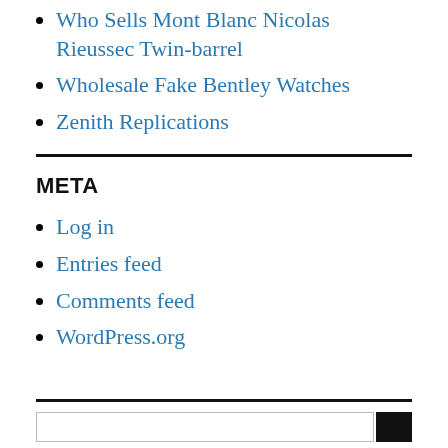Who Sells Mont Blanc Nicolas Rieussec Twin-barrel
Wholesale Fake Bentley Watches
Zenith Replications
META
Log in
Entries feed
Comments feed
WordPress.org